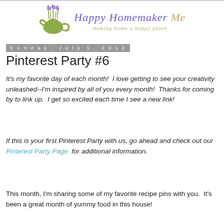[Figure (logo): Happy Homemaker Me blog logo with lavender flowers in a green teapot, cursive/italic text reading 'Happy Homemaker Me' and subtitle 'making home a happy place']
Sunday, July 1, 2012
Pinterest Party #6
It's my favorite day of each month!  I love getting to see your creativity unleashed--I'm inspired by all of you every month!  Thanks for coming by to link up.  I get so excited each time I see a new link!
If this is your first Pinterest Party with us, go ahead and check out our Pinterest Party Page  for additional information.
This month, I'm sharing some of my favorite recipe pins with you.  It's been a great month of yummy food in this house!